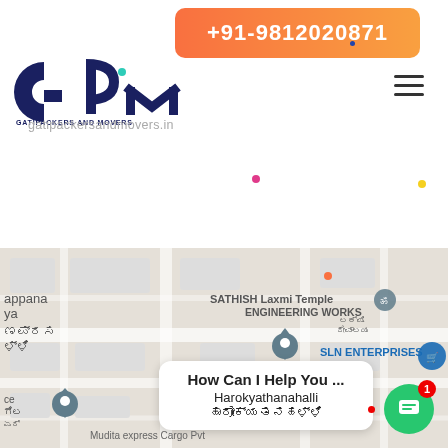+91-9812020871
[Figure (logo): GPM Gati Packers and Movers logo with circular G and M letters in dark navy blue]
gatipackersandmovers.in
[Figure (map): Google Maps screenshot showing Harokyathanahalli area with SATHISH ENGINEERING WORKS, SLN ENTERPRISES, Laxmi Temple markers visible]
How Can I Help You ...
Harokyathanahalli ಹಾರೋಕ್ಯತನಹಳ್ಳಿ
Mudita express Cargo Pvt